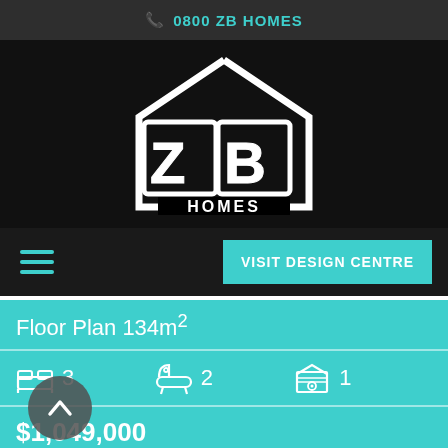0800 ZB HOMES
[Figure (logo): ZB Homes logo — large stylized letters Z and B inside a house outline shape, with HOMES text below, white on black background]
VISIT DESIGN CENTRE
Floor Plan 134m²
3 bedrooms, 2 bathrooms, 1 garage
$1,049,000